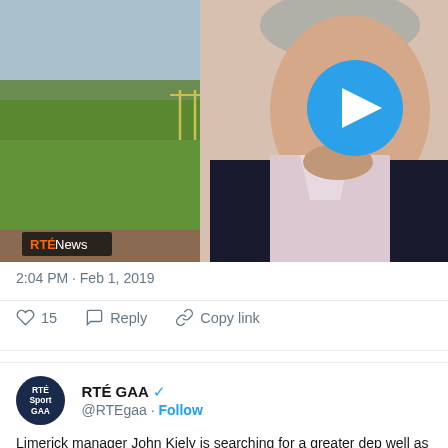[Figure (screenshot): Video thumbnail showing an interview with a man in a dark jacket and pink shirt, with a sports field and trees in background. RTÉ News watermark visible. Play button overlay in top right.]
2:04 PM · Feb 1, 2019
♡ 15   Reply   Copy link
[Figure (screenshot): RTÉ GAA Twitter profile avatar — dark navy circle with white text 'RTÉ Sport GAA']
RTÉ GAA @RTEgaa · Follow
Limerick manager John Kiely is searching for a greater dep well as continuing the positive start made to the Allianz Hu hosting Tipperary on Saturday night.